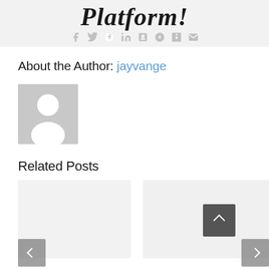[Figure (illustration): Banner with italic bold script text reading 'Platform!' on a light gray background, with social media icons below (Facebook, Twitter, Reddit, LinkedIn, Tumblr, Pinterest, VK, Email)]
About the Author: jayvange
[Figure (photo): Default user avatar placeholder: gray square with white silhouette of a person (head and shoulders)]
Related Posts
[Figure (screenshot): Two related post card thumbnails side by side on gray backgrounds, with left navigation arrow button on the left and right navigation arrow button on the right, and a scroll-to-top button (dark gray with up arrow) overlaid on the right card]